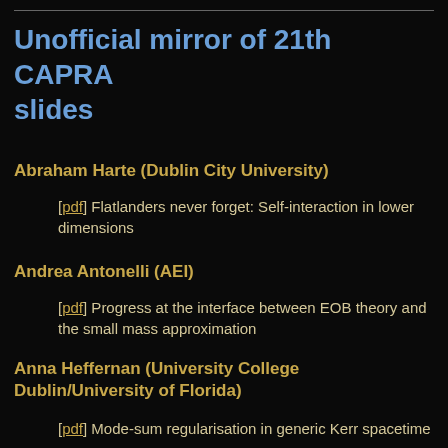Unofficial mirror of 21th CAPRA slides
Abraham Harte (Dublin City University)
[pdf] Flatlanders never forget: Self-interaction in lower dimensions
Andrea Antonelli (AEI)
[pdf] Progress at the interface between EOB theory and the small mass approximation
Anna Heffernan (University College Dublin/University of Florida)
[pdf] Mode-sum regularisation in generic Kerr spacetime